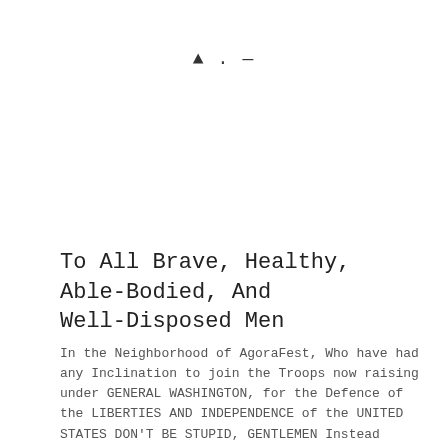[Figure (other): Small decorative icons: a filled triangle/arrow pointing up, a dot, and a dash/underscore, centered near the top of the page]
To All Brave, Healthy, Able-Bodied, And Well-Disposed Men
In the Neighborhood of AgoraFest, Who have had any Inclination to join the Troops now raising under GENERAL WASHINGTON, for the Defence of the LIBERTIES AND INDEPENDENCE of the UNITED STATES DON'T BE STUPID, GENTLEMEN Instead Visit The Dashing Rogue Your AgoraFest Emporium for All Things Necessary and Essential for